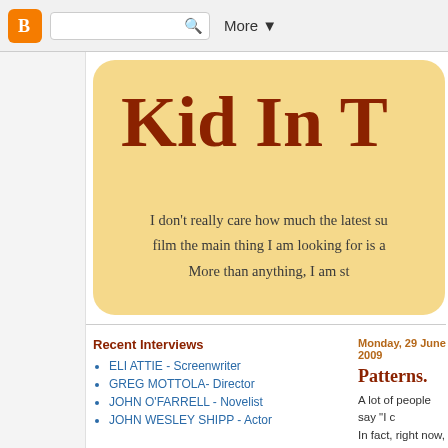Blogger navigation bar with search and More button
[Figure (screenshot): Blogger logo orange square with B icon]
Kid In T
I don't really care how much the latest su film the main thing I am looking for is a More than anything, I am st
Recent Interviews
ELI ATTIE - Screenwriter
GREG MOTTOLA- Director
JOHN O'FARRELL - Novelist
JOHN WESLEY SHIPP - Actor
Monday, 29 June 2009
Patterns.
A lot of people say "I c In fact, right now, I'm
It's really interesting...